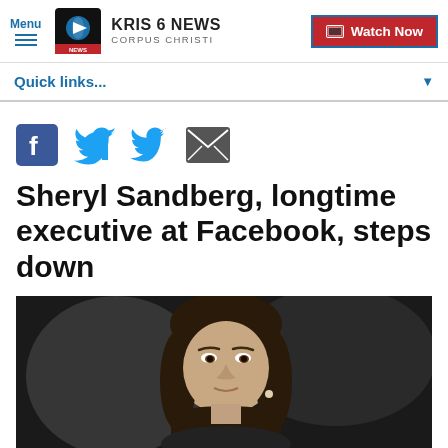Menu | KRIS 6 NEWS CORPUS CHRISTI | Watch Now
Quick links...
[Figure (infographic): Social sharing icons: Facebook (blue square with f), Twitter (blue bird), Email (dark envelope)]
Sheryl Sandberg, longtime executive at Facebook, steps down
[Figure (photo): Photo of Sheryl Sandberg, a woman with dark hair looking upward, against a dark blurred background]